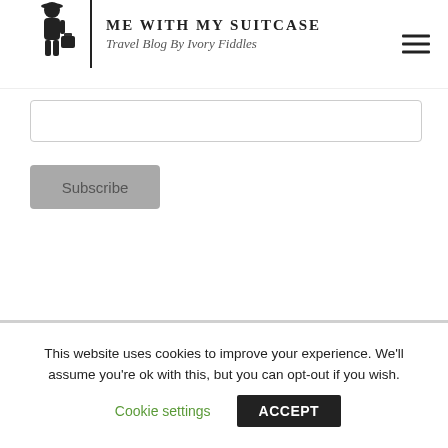Me With My Suitcase — Travel Blog By Ivory Fiddles
[Figure (screenshot): Email input text field for subscription form]
[Figure (screenshot): Subscribe button in gray]
This website uses cookies to improve your experience. We'll assume you're ok with this, but you can opt-out if you wish.
Cookie settings   ACCEPT